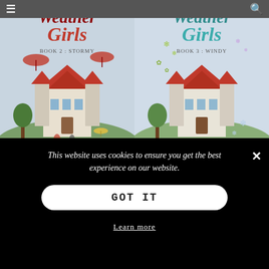≡  🔍
[Figure (illustration): Book cover for 'Weather Girls Book 2: Stormy' showing a Victorian-style house with red umbrella and figures, text reads Weather Girls Book 2: Stormy]
[Figure (illustration): Book cover for 'Weather Girls Book 3: Windy' showing the same Victorian-style house with snowflake decorations, text reads Weather Girls Book 3: Windy]
Stormy
Windy
This website uses cookies to ensure you get the best experience on our website.
GOT IT
Learn more